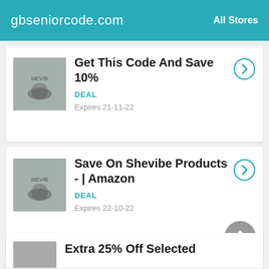gbseniorcode.com   All Stores
Get This Code And Save 10%
DEAL
Expires 21-11-22
Save On Shevibe Products - | Amazon
DEAL
Expires 22-10-22
Extra 25% Off Selected